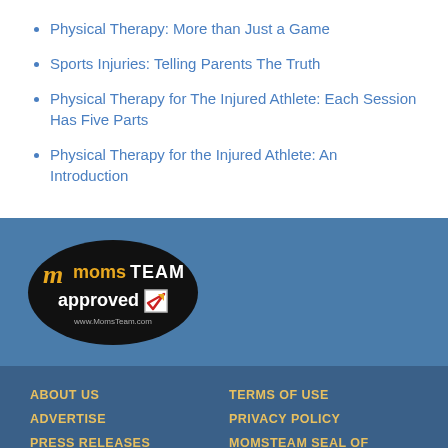Physical Therapy: More than Just a Game
Sports Injuries: Telling Parents The Truth
Physical Therapy for The Injured Athlete: Each Session Has Five Parts
Physical Therapy for the Injured Athlete: An Introduction
[Figure (logo): MomsTeam approved logo — black oval with orange M, white momsTEAM text, approved text with checkbox, www.MomsTeam.com URL]
ABOUT US | TERMS OF USE | ADVERTISE | PRIVACY POLICY | PRESS RELEASES | MOMSTEAM SEAL OF APPROVAL | CONTACT US | WELCOME